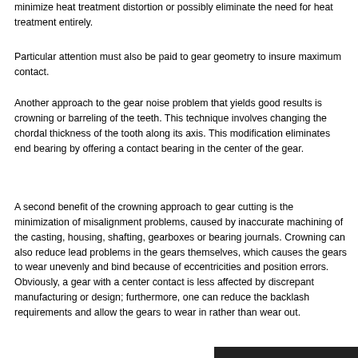minimize heat treatment distortion or possibly eliminate the need for heat treatment entirely.
Particular attention must also be paid to gear geometry to insure maximum contact.
Another approach to the gear noise problem that yields good results is crowning or barreling of the teeth. This technique involves changing the chordal thickness of the tooth along its axis. This modification eliminates end bearing by offering a contact bearing in the center of the gear.
A second benefit of the crowning approach to gear cutting is the minimization of misalignment problems, caused by inaccurate machining of the casting, housing, shafting, gearboxes or bearing journals. Crowning can also reduce lead problems in the gears themselves, which causes the gears to wear unevenly and bind because of eccentricities and position errors. Obviously, a gear with a center contact is less affected by discrepant manufacturing or design; furthermore, one can reduce the backlash requirements and allow the gears to wear in rather than wear out.